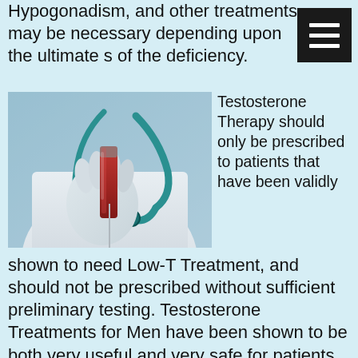Hypogonadism, and other treatments may be necessary depending upon the ultimate s of the deficiency.
[Figure (photo): Doctor or medical professional in white coat and gloves holding a blood sample test tube with red liquid, with a teal stethoscope visible in the background.]
Testosterone Therapy should only be prescribed to patients that have been validly shown to need Low-T Treatment, and should not be prescribed without sufficient preliminary testing. Testosterone Treatments for Men have been shown to be both very useful and very safe for patients that have a valid need for the treatment resulting from hypogonadism, but for men with no established clinical need, the procedure can